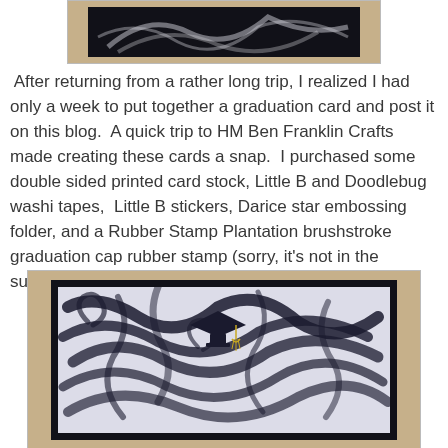[Figure (photo): Partial top view of a handmade card showing dark brushstroke design on light background, framed in black, placed on burlap texture]
After returning from a rather long trip, I realized I had only a week to put together a graduation card and post it on this blog.  A quick trip to HM Ben Franklin Crafts made creating these cards a snap.  I purchased some double sided printed card stock, Little B and Doodlebug washi tapes,  Little B stickers, Darice star embossing folder, and a Rubber Stamp Plantation brushstroke graduation cap rubber stamp (sorry, it's not in the supplies photo).
[Figure (photo): A handmade graduation card featuring dark brushstroke calligraphy background on light grey/blue card stock, with a graduation cap sticker with gold tassel, oval with small graduation figures, and 'Congrats' in gold script. Card is framed in black and placed on burlap texture.]